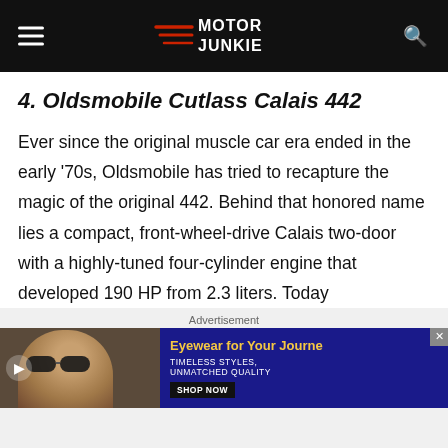Motor Junkie
4. Oldsmobile Cutlass Calais 442
Ever since the original muscle car era ended in the early ’70s, Oldsmobile has tried to recapture the magic of the original 442. Behind that honored name lies a compact, front-wheel-drive Calais two-door with a highly-tuned four-cylinder engine that developed 190 HP from 2.3 liters. Today
[Figure (photo): Advertisement banner showing a man wearing sunglasses with an eyewear promotional ad for 'Eyewear for Your Journey' with TIMELESS STYLES, UNMATCHED QUALITY and SHOP NOW button]